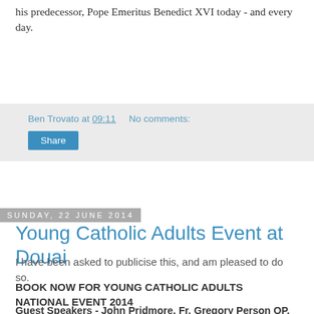his predecessor, Pope Emeritus Benedict XVI today - and every day.
Ben Trovato at 09:11    No comments:
Share
Sunday, 22 June 2014
Young Catholic Adults Event at Douai
I have been asked to publicise this, and am pleased to do so.
BOOK NOW FOR YOUNG CATHOLIC ADULTS NATIONAL EVENT 2014
Guest Speakers - John Pridmore, Fr. Gregory Person OP, Fr. Matthew Goddard FSSP
There will be:-